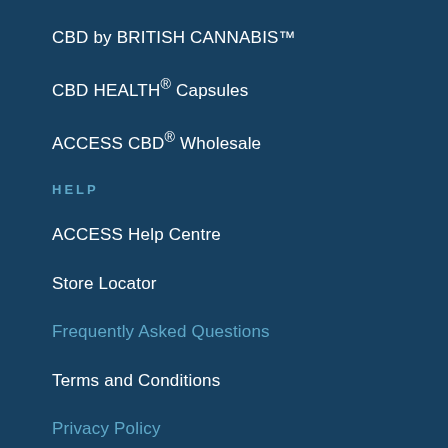CBD by BRITISH CANNABIS™
CBD HEALTH® Capsules
ACCESS CBD® Wholesale
HELP
ACCESS Help Centre
Store Locator
Frequently Asked Questions
Terms and Conditions
Privacy Policy
Contact